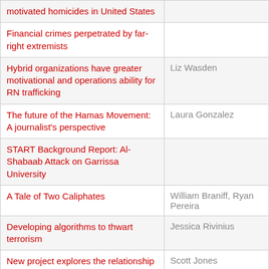| Title | Author |
| --- | --- |
| motivated homicides in United States |  |
| Financial crimes perpetrated by far-right extremists |  |
| Hybrid organizations have greater motivational and operations ability for RN trafficking | Liz Wasden |
| The future of the Hamas Movement: A journalist's perspective | Laura Gonzalez |
| START Background Report: Al-Shabaab Attack on Garrissa University |  |
| A Tale of Two Caliphates | William Braniff, Ryan Pereira |
| Developing algorithms to thwart terrorism | Jessica Rivinius |
| New project explores the relationship between belief and action of terrorist groups | Scott Jones |
| New brief analyzes terrorist groups in the United States |  |
| Sovereign citizen movement perceived | Jessica Rivinius |